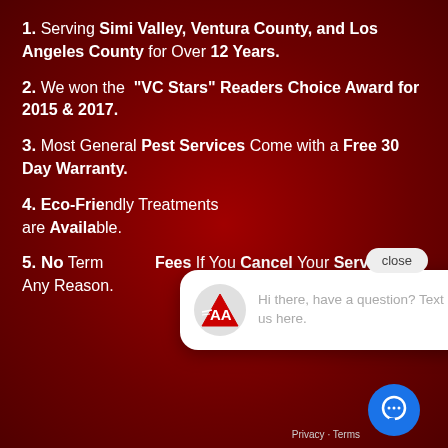1. Serving Simi Valley, Ventura County, and Los Angeles County for Over 12 Years.
2. We won the "VC Stars" Readers Choice Award for 2015 & 2017.
3. Most General Pest Services Come with a Free 30 Day Warranty.
4. Eco-Friendly Treatments are Available.
5. No Termination Fees If You Cancel Your Service for Any Reason.
[Figure (screenshot): Chat popup widget with AA pest control logo and message: Hi there, have a question? Text us here. With a close button and blue chat icon.]